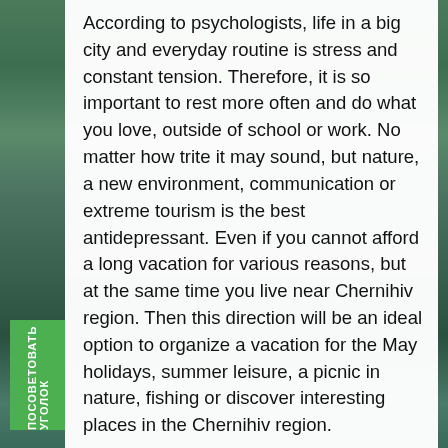According to psychologists, life in a big city and everyday routine is stress and constant tension. Therefore, it is so important to rest more often and do what you love, outside of school or work. No matter how trite it may sound, but nature, a new environment, communication or extreme tourism is the best antidepressant. Even if you cannot afford a long vacation for various reasons, but at the same time you live near Chernihiv region. Then this direction will be an ideal option to organize a vacation for the May holidays, summer leisure, a picnic in nature, fishing or discover interesting places in the Chernihiv region.
Naturally, the website for tourists Travels-ukraine provides a ready-made tourist route in the Chernihiv region, but as part of an independent trip, you can adjust it at your discretion. If you describe this road route in a nutshell and pay attention to the main points, then it should be noted: the roads are good,